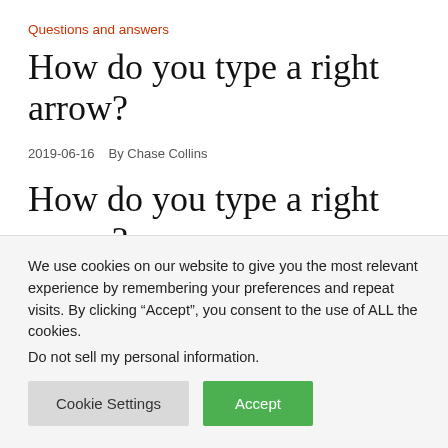Questions and answers
How do you type a right arrow?
2019-06-16   By Chase Collins
How do you type a right arrow?
Make the arrows with keyboard shortcuts under
We use cookies on our website to give you the most relevant experience by remembering your preferences and repeat visits. By clicking “Accept”, you consent to the use of ALL the cookies.
Do not sell my personal information.